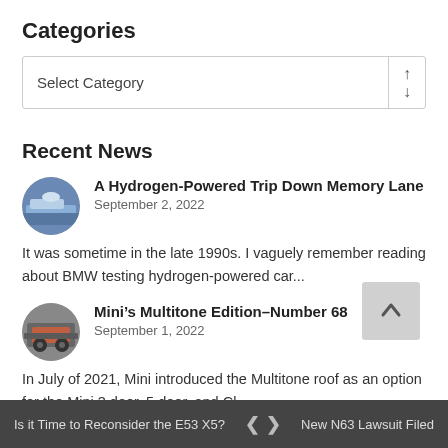Categories
Select Category
Recent News
A Hydrogen-Powered Trip Down Memory Lane
September 2, 2022
It was sometime in the late 1990s. I vaguely remember reading about BMW testing hydrogen-powered car...
Mini’s Multitone Edition–Number 68
September 1, 2022
In July of 2021, Mini introduced the Multitone roof as an option for the Mini 3 door, 5 door, and Cl...
Legends Come To Life In Pacific Grove
Is it Time to Reconsider the E53 X5?    ❮  ❯    New N63 Lawsuit Filed